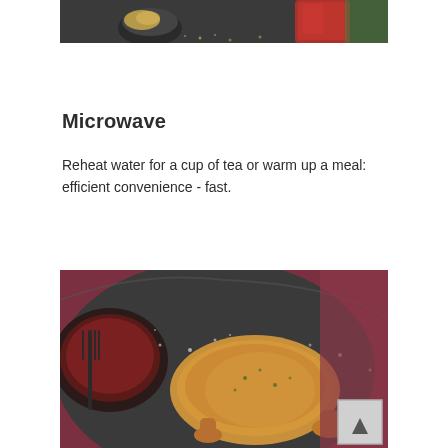[Figure (photo): Top portion of a food photograph showing a dark tray with seeds in a small bowl and a red drink in a glass]
Microwave
Reheat water for a cup of tea or warm up a meal: efficient convenience - fast.
[Figure (photo): Overhead view of a roasted whole chicken or game hen on a dark plate with a carving fork, dark sauce/gravy in a bowl, seasoned with herbs and salt, on a dark background with a mauve/dusty rose accent]